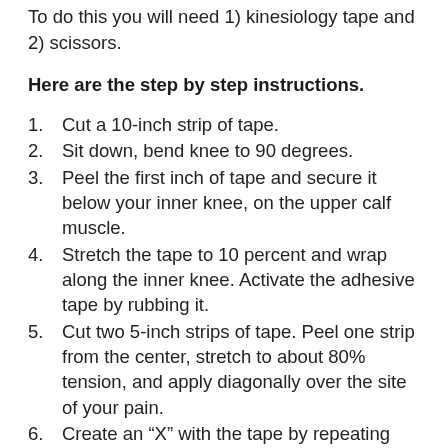To do this you will need 1) kinesiology tape and 2) scissors.
Here are the step by step instructions.
Cut a 10-inch strip of tape.
Sit down, bend knee to 90 degrees.
Peel the first inch of tape and secure it below your inner knee, on the upper calf muscle.
Stretch the tape to 10 percent and wrap along the inner knee. Activate the adhesive tape by rubbing it.
Cut two 5-inch strips of tape. Peel one strip from the center, stretch to about 80% tension, and apply diagonally over the site of your pain.
Create an “X” with the tape by repeating